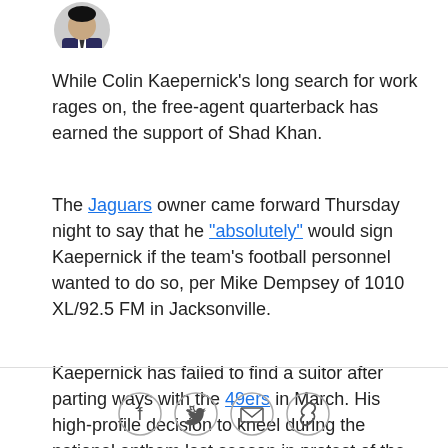[Figure (photo): Small circular avatar/headshot of a man in a suit, partially cropped at top of page]
While Colin Kaepernick's long search for work rages on, the free-agent quarterback has earned the support of Shad Khan.
The Jaguars owner came forward Thursday night to say that he "absolutely" would sign Kaepernick if the team's football personnel wanted to do so, per Mike Dempsey of 1010 XL/92.5 FM in Jacksonville.
Kaepernick has failed to find a suitor after parting ways with the 49ers in March. His high-profile decision to kneel during the national anthem last season in protest of the treatment of minorities in the United States might have turned off some league owners, but not in
[Figure (infographic): Social sharing icons: Facebook, Twitter, Email, Link]